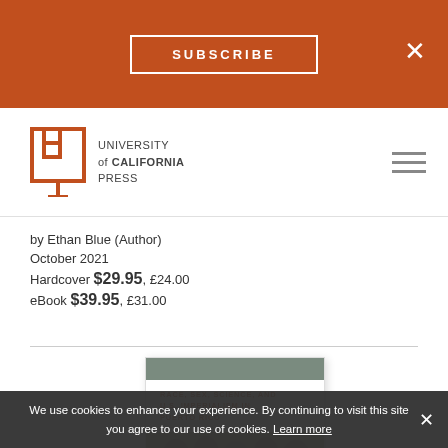SUBSCRIBE
[Figure (logo): University of California Press logo with text: UNIVERSITY of CALIFORNIA PRESS]
by Ethan Blue (Author)
October 2021
Hardcover $29.95, £24.00
eBook $39.95, £31.00
[Figure (photo): Book cover thumbnail: Race, Sex, Science, and U.S. Imperialism in Puerto Rico]
We use cookies to enhance your experience. By continuing to visit this site you agree to our use of cookies. Learn more